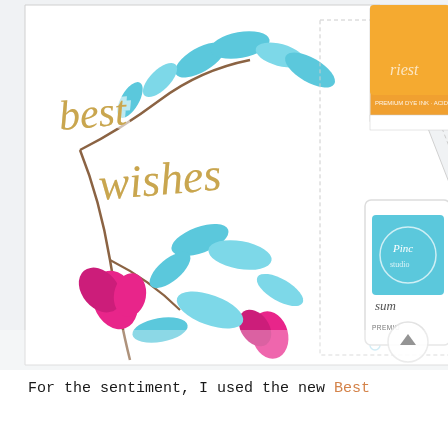[Figure (photo): A close-up photograph of a handmade greeting card featuring 'best wishes' written in gold script lettering, decorated with blue and pink floral motifs painted with Pinkfresh Studio premium dye ink. Next to the card are two ink pads: one in apricot/yellow-orange and one in a summer blue color, both labeled 'PREMIUM DYE INK'. A circular navigation arrow button is visible in the lower right of the image.]
For the sentiment, I used the new Best